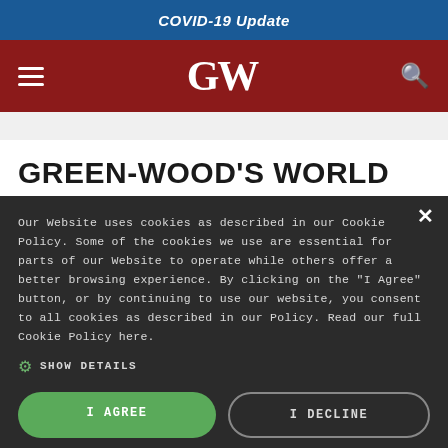COVID-19 Update
[Figure (logo): GW (George Washington University) logo in white on dark red navigation bar with hamburger menu and search icon]
GREEN-WOOD'S WORLD WAR II
Our Website uses cookies as described in our Cookie Policy. Some of the cookies we use are essential for parts of our Website to operate while others offer a better browsing experience. By clicking on the "I Agree" button, or by continuing to use our website, you consent to all cookies as described in our Policy. Read our full Cookie Policy here.
SHOW DETAILS
I AGREE
I DECLINE
POWERED BY COOKIE-SCRIPT